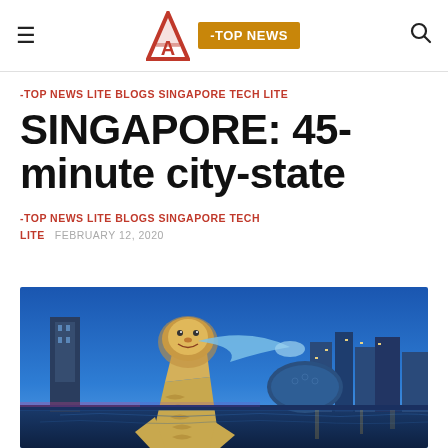≡  A  -TOP NEWS  🔍
-TOP NEWS LITE BLOGS SINGAPORE TECH LITE
SINGAPORE: 45-minute city-state
-TOP NEWS LITE BLOGS SINGAPORE TECH LITE   FEBRUARY 12, 2020
[Figure (photo): Singapore Merlion statue at night with city skyline in the background, illuminated by blue twilight sky]